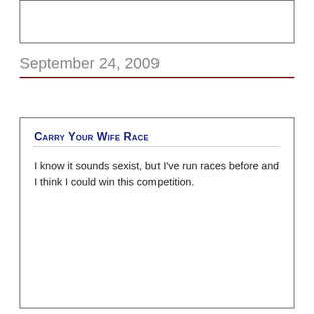[Figure (other): Empty bordered box at top of page]
September 24, 2009
Carry Your Wife Race
I know it sounds sexist, but I've run races before and I think I could win this competition.